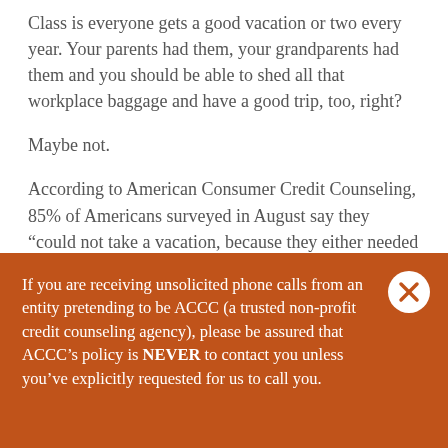Class is everyone gets a good vacation or two every year. Your parents had them, your grandparents had them and you should be able to shed all that workplace baggage and have a good trip, too, right?
Maybe not.
According to American Consumer Credit Counseling, 85% of Americans surveyed in August say they “could not take a vacation, because they either needed to use the money for bills or other expenses, didn’t have enough money saved or couldn’t take time off.” Money may be
If you are receiving unsolicited phone calls from an entity pretending to be ACCC (a trusted non-profit credit counseling agency), please be assured that ACCC’s policy is NEVER to contact you unless you’ve explicitly requested for us to call you.